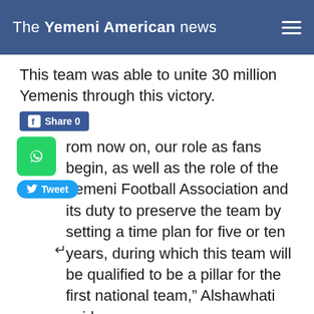The Yemeni American news
This team was able to unite 30 million Yemenis through this victory.
From now on, our role as fans begin, as well as the role of the Yemeni Football Association and its duty to preserve the team by setting a time plan for five or ten years, during which this team will be qualified to be a pillar for the first national team,” Alshawhati said.
We hope that this team will represent Yemen in the World Cup 2026, which will be held in America,